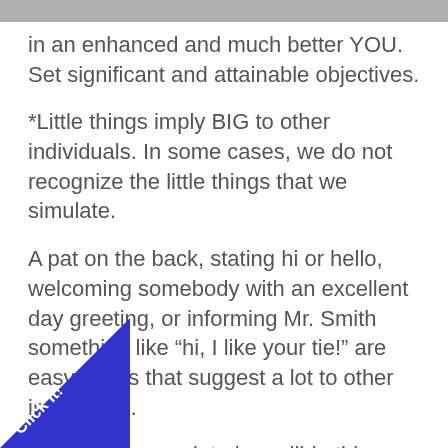in an enhanced and much better YOU. Set significant and attainable objectives.
*Little things imply BIG to other individuals. In some cases, we do not recognize the little things that we simulate.
A pat on the back, stating hi or hello, welcoming somebody with an excellent day greeting, or informing Mr. Smith something like “hi, I like your tie!” are easy things that suggest a lot to other individuals.
When we appreciate incredible things around us and other individuals, we likewise stunning them.